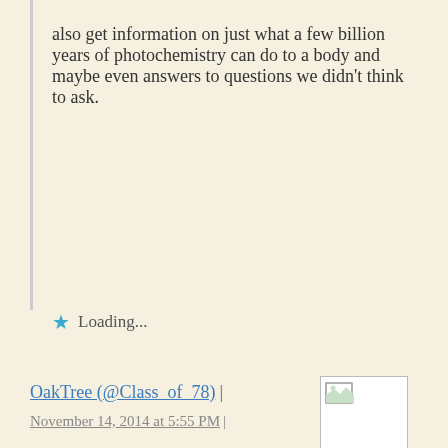also get information on just what a few billion years of photochemistry can do to a body and maybe even answers to questions we didn't think to ask.
Loading...
OakTree (@Class_of_78) | November 14, 2014 at 5:55 PM |
[Figure (photo): Broken image placeholder / avatar thumbnail for user OakTree]
“… When they pummeled our poor planet in its early years, far more often than they do today, their blows may have delivered the water for the Earth’s oceans and the chemical building blocks for its biology. ”
” … far more often than they do